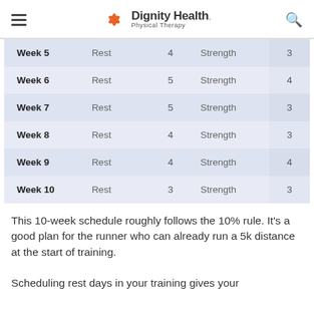Dignity Health Physical Therapy
| Week 5 | Rest | 4 | Strength | 3 |
| Week 6 | Rest | 5 | Strength | 4 |
| Week 7 | Rest | 5 | Strength | 3 |
| Week 8 | Rest | 4 | Strength | 3 |
| Week 9 | Rest | 4 | Strength | 4 |
| Week 10 | Rest | 3 | Strength | 3 |
This 10-week schedule roughly follows the 10% rule. It's a good plan for the runner who can already run a 5k distance at the start of training.
Scheduling rest days in your training gives your